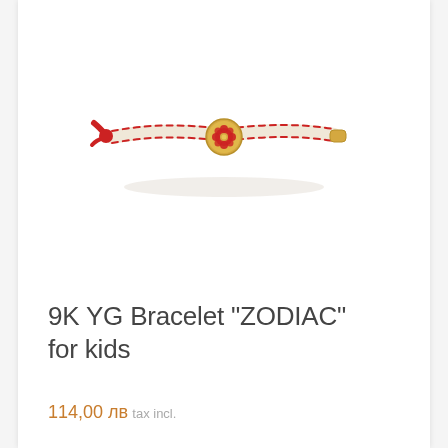[Figure (photo): A children's bracelet with red and white braided/woven cord and a gold round charm with a red floral/zodiac decoration in the center. The bracelet has a red tie closure on one end.]
9K YG Bracelet "ZODIAC" for kids
114,00 лв tax incl.